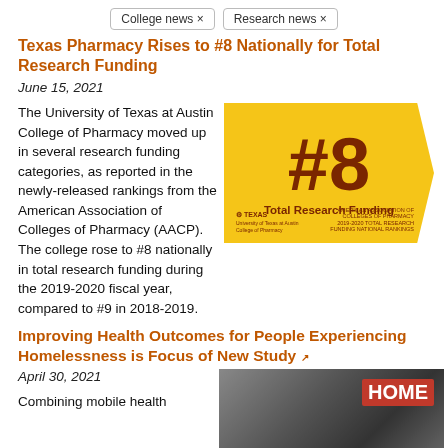College news ×    Research news ×
Texas Pharmacy Rises to #8 Nationally for Total Research Funding
June 15, 2021
The University of Texas at Austin College of Pharmacy moved up in several research funding categories, as reported in the newly-released rankings from the American Association of Colleges of Pharmacy (AACP). The college rose to #8 nationally in total research funding during the 2019-2020 fiscal year, compared to #9 in 2018-2019.
[Figure (infographic): Yellow badge with #8 Total Research Funding, Texas logo and AACP attribution]
Improving Health Outcomes for People Experiencing Homelessness is Focus of New Study
April 30, 2021
[Figure (photo): People wearing masks holding signs including HOME sign]
Combining mobile health